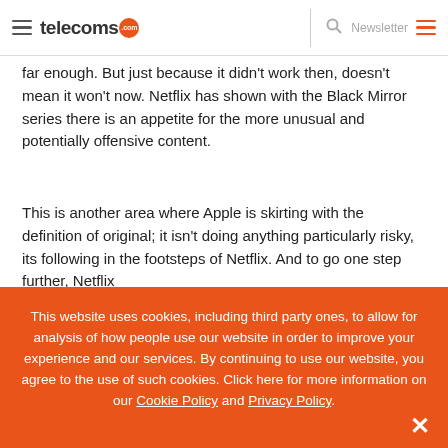telecoms.com | Newsletter
far enough. But just because it didn't work then, doesn't mean it won't now. Netflix has shown with the Black Mirror series there is an appetite for the more unusual and potentially offensive content.
This is another area where Apple is skirting with the definition of original; it isn't doing anything particularly risky, its following in the footsteps of Netflix. And to go one step further, Netflix
This website uses cookies, including third party ones, to allow for analysis of how people use our website in order to improve your experience and our services. By continuing to use our website, you agree to the use of such cookies. Click here for more information on our Cookie Policy and Privacy Policy.